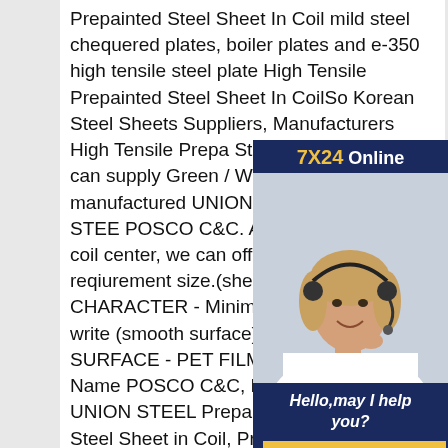Prepainted Steel Sheet In Coil mild steel chequered plates, boiler plates and e-350 high tensile steel plate High Tensile Prepainted Steel Sheet In CoilSo Korean Steel Sheets Suppliers, Manufacturers High Tensile Prepa Steel Sheet In CoilWe can supply Green / White boar manufactured UNION STEEL, DONG-BU STEE POSCO C&C. And we have our d coil center, we can offer according reqiurement size.(sheet or coil) * CHARACTER - Minimizing conta - Easy write (smooth surface) - Easy clean * SURFACE - PET FILM - GRID * Brand Name POSCO C&C, DONG-BU STEEL, UNION STEEL Prepainted Colour Coated Steel Sheet in Coil, Prepainted High Tensile Prepainted Steel Sheet In
[Figure (infographic): Customer service chat widget overlay. Dark navy blue background with '7X24 Online' header (7X24 in yellow, Online in white). Photo of smiling woman with headset. Text 'Hello,may I help you?' in white italic. Yellow 'Get Latest Price' button.]